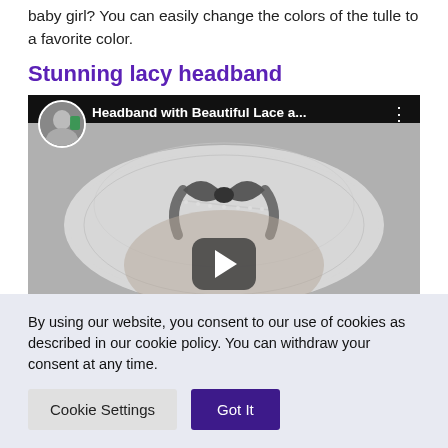baby girl? You can easily change the colors of the tulle to a favorite color.
Stunning lacy headband
[Figure (screenshot): YouTube video embed thumbnail showing a lacy headband with a decorative bow, with video player controls and channel avatar. Title reads 'Headband with Beautiful Lace a...']
By using our website, you consent to our use of cookies as described in our cookie policy. You can withdraw your consent at any time.